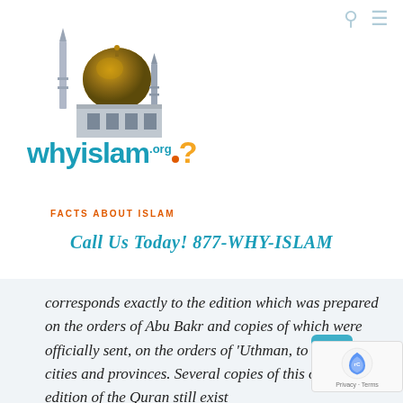[Figure (logo): WhyIslam.org logo with mosque silhouette illustration and brand text including 'whyislam' in teal with orange question mark and dot, tagline 'FACTS ABOUT ISLAM' in orange]
Call Us Today! 877-WHY-ISLAM
corresponds exactly to the edition which was prepared on the orders of Abu Bakr and copies of which were officially sent, on the orders of 'Uthman, to various cities and provinces. Several copies of this original edition of the Quran still exist